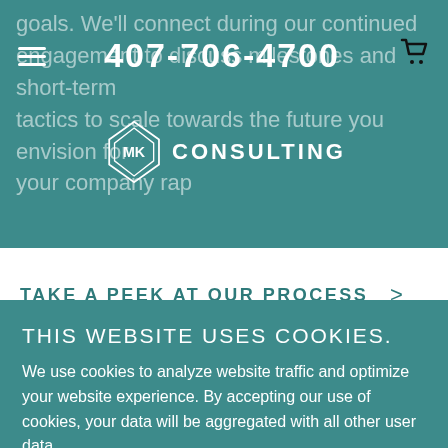[Figure (screenshot): Background website text partially visible behind navigation bar, reading: 'goals. We'll connect during our continued engagement to discuss milestones and short-term tactics to scale towards the future you envision for your company rap...']
407-706-4700
[Figure (logo): MK Consulting diamond-shaped logo with 'MK' inside and 'CONSULTING' text to the right]
TAKE A PEEK AT OUR PROCESS >
THIS WEBSITE USES COOKIES.
We use cookies to analyze website traffic and optimize your website experience. By accepting our use of cookies, your data will be aggregated with all other user data.
DECLINE
ACCEPT